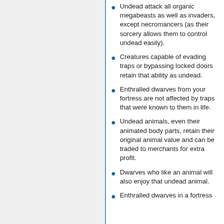Undead attack all organic megabeasts as well as invaders, except necromancers (as their sorcery allows them to control undead easily).
Creatures capable of evading traps or bypassing locked doors retain that ability as undead.
Enthralled dwarves from your fortress are not affected by traps that were known to them in life.
Undead animals, even their animated body parts, retain their original animal value and can be traded to merchants for extra profit.
Dwarves who like an animal will also enjoy that undead animal.
Enthralled dwarves in a fortress